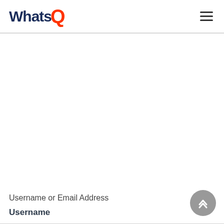WhatsQ
Username or Email Address
Username